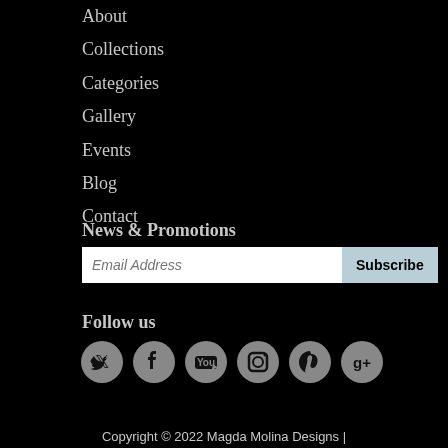About
Collections
Categories
Gallery
Events
Blog
Contact
News & Promotions
[Figure (other): Email address input field with Subscribe button]
Follow us
[Figure (other): Social media icons: Twitter, Facebook, YouTube, Instagram, Pinterest, Google+]
Copyright © 2022 Magda Molina Designs |